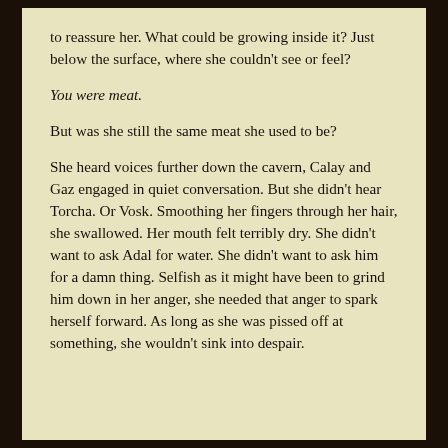to reassure her. What could be growing inside it? Just below the surface, where she couldn't see or feel?
You were meat.
But was she still the same meat she used to be?
She heard voices further down the cavern, Calay and Gaz engaged in quiet conversation. But she didn't hear Torcha. Or Vosk. Smoothing her fingers through her hair, she swallowed. Her mouth felt terribly dry. She didn't want to ask Adal for water. She didn't want to ask him for a damn thing. Selfish as it might have been to grind him down in her anger, she needed that anger to spark herself forward. As long as she was pissed off at something, she wouldn't sink into despair.